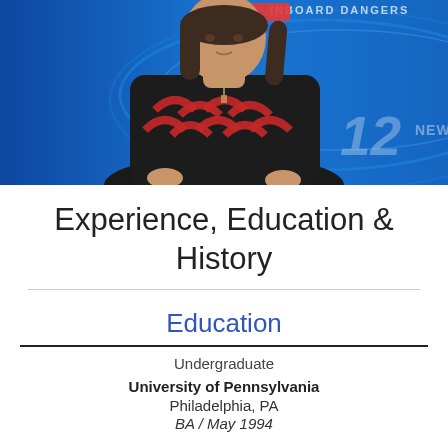[Figure (photo): A woman news anchor on a TV broadcast set with a blue background showing channel 12 news graphics. She is wearing a black sweater with red pattern. A red graphic and text reading 'INBOARD DANGERS' appears in the upper portion of the screen.]
Experience, Education & History
Education
Undergraduate
University of Pennsylvania
Philadelphia, PA
BA / May 1994